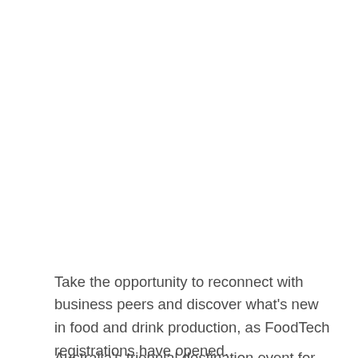Take the opportunity to reconnect with business peers and discover what’s new in food and drink production, as FoodTech registrations have opened.
Australia’s triennial destination event for the industry